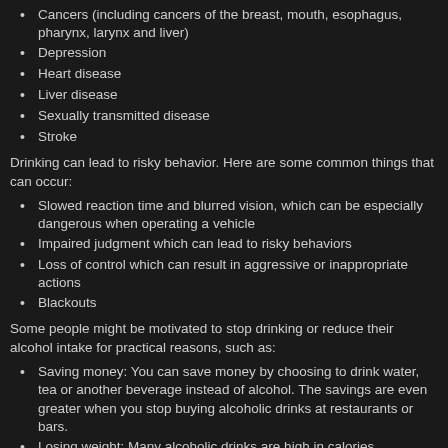Cancers (including cancers of the breast, mouth, esophagus, pharynx, larynx and liver)
Depression
Heart disease
Liver disease
Sexually transmitted disease
Stroke
Drinking can lead to risky behavior. Here are some common things that can occur:
Slowed reaction time and blurred vision, which can be especially dangerous when operating a vehicle
Impaired judgment which can lead to risky behaviors
Loss of control which can result in aggressive or inappropriate actions
Blackouts
Some people might be motivated to stop drinking or reduce their alcohol intake for practical reasons, such as:
Saving money: You can save money by choosing to drink water, tea or another beverage instead of alcohol. The savings are even greater when you stop buying alcoholic drinks at restaurants or bars.
Losing weight: Many alcoholic drinks are high in calories. Depending on a person's drinking patterns, reducing by just one drink a day — even without making any other changes — could result in